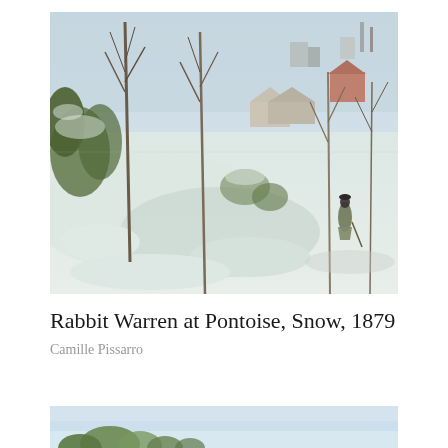[Figure (photo): Painting: Rabbit Warren at Pontoise, Snow, 1879 by Camille Pissarro. An impressionist winter landscape showing snow-covered ground with bare trees, shrubs, and rooftops in the background. A figure stands on a path to the right side of the composition.]
Rabbit Warren at Pontoise, Snow, 1879
Camille Pissarro
[Figure (photo): Partial view of another Pissarro painting showing green shrubs and a pale blue-white sky, cropped at the bottom of the page.]